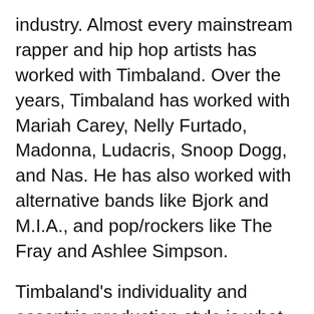industry. Almost every mainstream rapper and hip hop artists has worked with Timbaland. Over the years, Timbaland has worked with Mariah Carey, Nelly Furtado, Madonna, Ludacris, Snoop Dogg, and Nas. He has also worked with alternative bands like Bjork and M.I.A., and pop/rockers like The Fray and Ashlee Simpson.
Timbaland's individuality and eccentric production style is what makes him stand out from the music producing crowd. He has never taken samples of songs from past musicians like most producers, and his productions have been known to have stuttering bass and a quiet murmuring underneath the track.
Not only will readers learn about Timbaland's music experiences, but will also be introduced to his new tele-